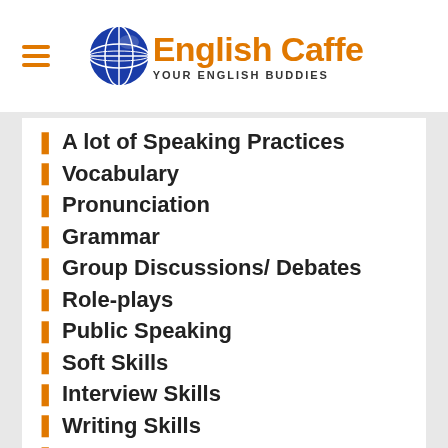English Caffe — YOUR ENGLISH BUDDIES
A lot of Speaking Practices
Vocabulary
Pronunciation
Grammar
Group Discussions/ Debates
Role-plays
Public Speaking
Soft Skills
Interview Skills
Writing Skills
Personality Development
As a Result YOU: